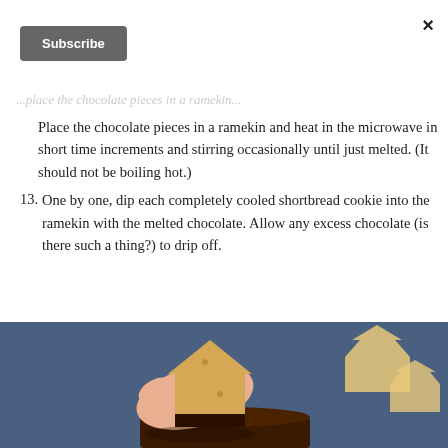×
Subscribe
Place the chocolate pieces in a ramekin and heat in the microwave in short time increments and stirring occasionally until just melted. (It should not be boiling hot.)
13. One by one, dip each completely cooled shortbread cookie into the ramekin with the melted chocolate. Allow any excess chocolate (is there such a thing?) to drip off.
[Figure (photo): A hand holding a house-shaped shortbread cookie being dipped into melted chocolate in a ramekin, with more house-shaped cookies visible in the background on a blue surface.]